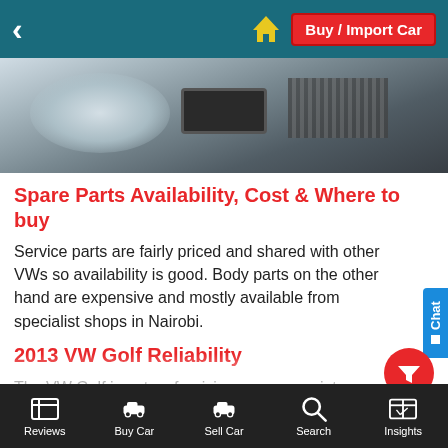Buy / Import Car
[Figure (photo): Close-up photo of car front/headlight area with chrome and metal parts]
Spare Parts Availability, Cost & Where to buy
Service parts are fairly priced and shared with other VWs so availability is good. Body parts on the other hand are expensive and mostly available from specialist shops in Nairobi.
2013 VW Golf Reliability
The VW Golf is not as forgiving on poor maintenance as some of its Japanese rivals. The DSG gearbox has elaborate maintenance procedures that should be religiously adhered to otherwise it will develop problems.It should also be serviced by a qualified technician who understands the DSG gearbox and the requirement for an expensive transmission fluid with dedicated additive. Anything short of this will be catastrophic. For a more in-depth analysis on reliability and
Reviews  Buy Car  Sell Car  Search  Insights